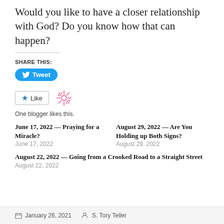Would you like to have a closer relationship with God?  Do you know how that can happen?
SHARE THIS:
[Figure (other): Twitter Tweet button (blue rounded button with bird icon and 'Tweet' text)]
[Figure (other): Like button with star icon and snowflake/asterisk icon beside it]
One blogger likes this.
June 17, 2022 — Praying for a Miracle?
June 17, 2022
August 29, 2022 — Are You Holding up Both Signs?
August 29, 2022
August 22, 2022 — Going from a Crooked Road to a Straight Street
August 22, 2022
January 26, 2021   S. Tory Teller